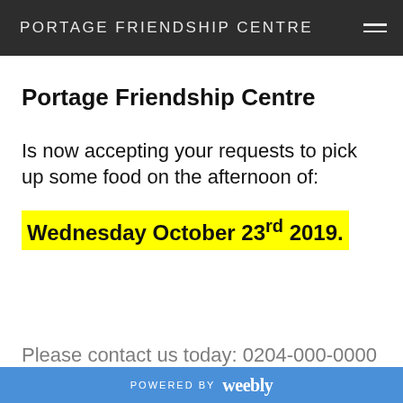PORTAGE FRIENDSHIP CENTRE
Portage Friendship Centre
Is now accepting your requests to pick up some food on the afternoon of:
Wednesday October 23rd 2019.
POWERED BY weebly